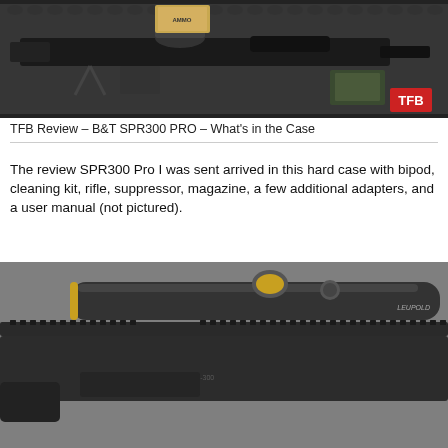[Figure (photo): Top-down view of a B&T SPR300 PRO rifle in a hard foam-lined case, with bipod, cleaning kit, suppressor, magazine, adapters, and a TFB logo badge in the lower right corner.]
TFB Review – B&T SPR300 PRO – What's in the Case
The review SPR300 Pro I was sent arrived in this hard case with bipod, cleaning kit, rifle, suppressor, magazine, a few additional adapters, and a user manual (not pictured).
[Figure (photo): Close-up photo of a B&T SPR300 PRO rifle with Leupold scope mounted on a Picatinny rail, with TRUGLO TRU-TEC MICRO advertisement overlay at the bottom.]